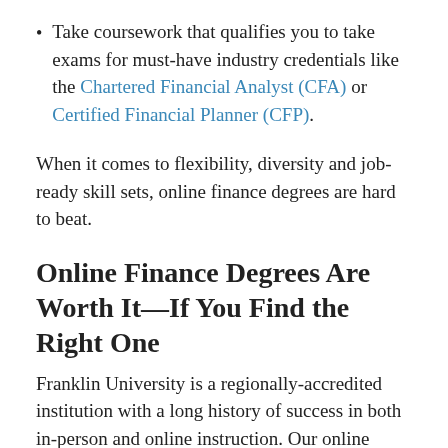Take coursework that qualifies you to take exams for must-have industry credentials like the Chartered Financial Analyst (CFA) or Certified Financial Planner (CFP).
When it comes to flexibility, diversity and job-ready skill sets, online finance degrees are hard to beat.
Online Finance Degrees Are Worth It—If You Find the Right One
Franklin University is a regionally-accredited institution with a long history of success in both in-person and online instruction. Our online finance degree programs are designed to give working professionals the in-demand technical and soft skills